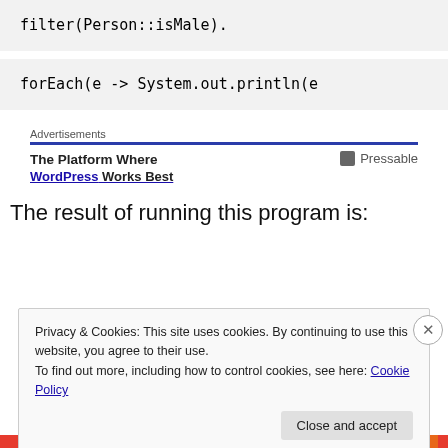filter(Person::isMale).
forEach(e -> System.out.println(e
Advertisements
The Platform Where WordPress Works Best   Pressable
The result of running this program is:
Privacy & Cookies: This site uses cookies. By continuing to use this website, you agree to their use.
To find out more, including how to control cookies, see here: Cookie Policy
Close and accept